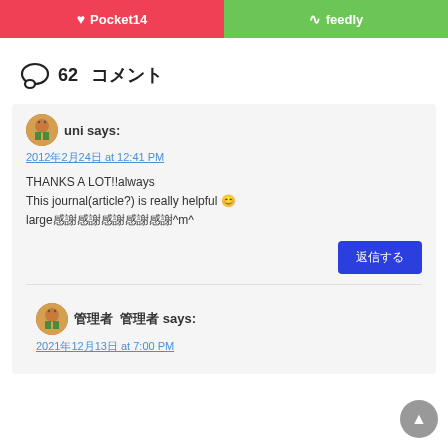[Figure (screenshot): Pocket and Feedly share buttons at top]
62 コメント
uni says:
2012年2月24日 at 12:41 PM
THANKS A LOT!!always
This journal(article?) is really helpful 😊
large感謝感謝感謝感謝感謝^m^
返信する
管理者 管理者 says:
2021年12月13日 at 7:00 PM